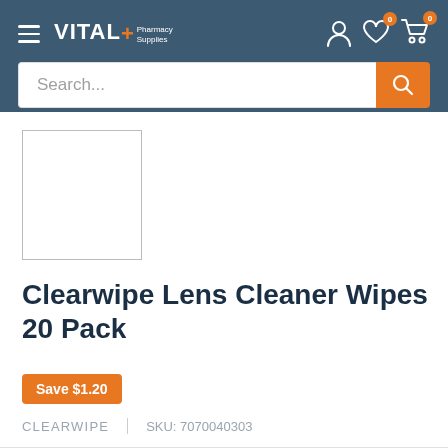VITAL+ Pharmacy Supplies
[Figure (screenshot): Empty product image placeholder box with border]
Clearwipe Lens Cleaner Wipes 20 Pack
Save $1.20
CLEARWIPE   SKU: 7070040303